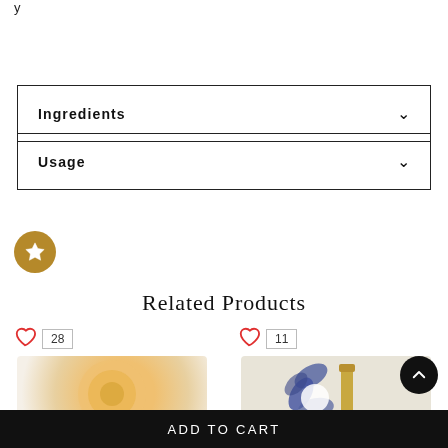y
Ingredients
Usage
[Figure (illustration): Gold star badge/icon on circular background]
Related Products
[Figure (photo): Product image with orange/gold circular design, heart icon with count 28]
[Figure (photo): Product image with gold bottle and blue flower design, heart icon with count 11]
ADD TO CART